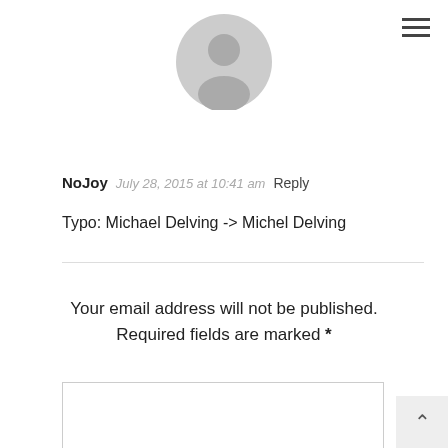[Figure (illustration): Gray circular user avatar icon centered near top of page]
NoJoy   July 28, 2015 at 10:41 am   Reply
Typo: Michael Delving -> Michel Delving
Your email address will not be published. Required fields are marked *
[Figure (other): Empty comment text area input box]